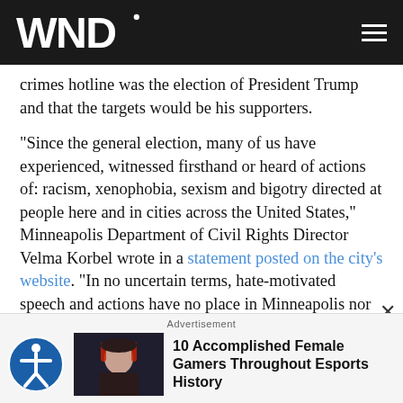WND
crimes hotline was the election of President Trump and that the targets would be his supporters.
"Since the general election, many of us have experienced, witnessed firsthand or heard of actions of: racism, xenophobia, sexism and bigotry directed at people here and in cities across the United States," Minneapolis Department of Civil Rights Director Velma Korbel wrote in a statement posted on the city's website. "In no uncertain terms, hate-motivated speech and actions have no place in Minneapolis nor will they be tolerated."
[Figure (screenshot): Advertisement bar at bottom with accessibility icon, gamer thumbnail image, and text '10 Accomplished Female Gamers Throughout Esports History']